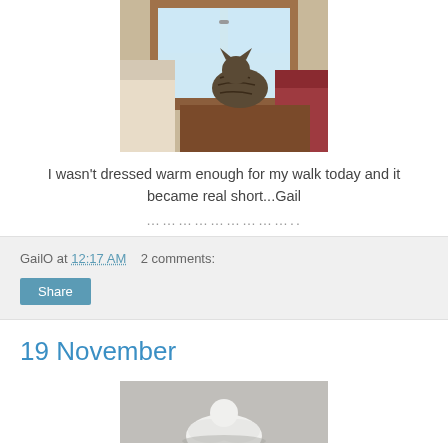[Figure (photo): A cat sitting on a wooden shelf by a window with wooden frame, a cream chair on the left and a red/maroon upholstered chair on the right.]
I wasn't dressed warm enough for my walk today and it became real short...Gail
…………………….
GailO at 12:17 AM   2 comments:
Share
19 November
[Figure (photo): A white bird (possibly a duck or goose) on a grey/concrete surface, partially visible at the bottom of the page.]